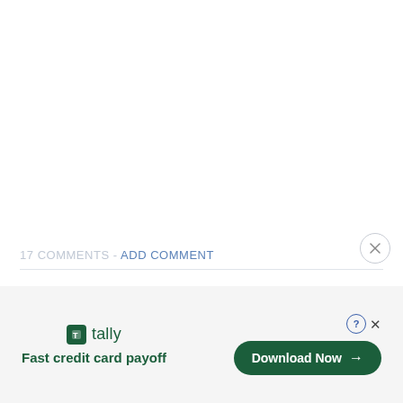17 COMMENTS - ADD COMMENT
[Figure (screenshot): Advertisement banner for Tally app with tagline 'Fast credit card payoff' and 'Download Now' button]
Fast credit card payoff